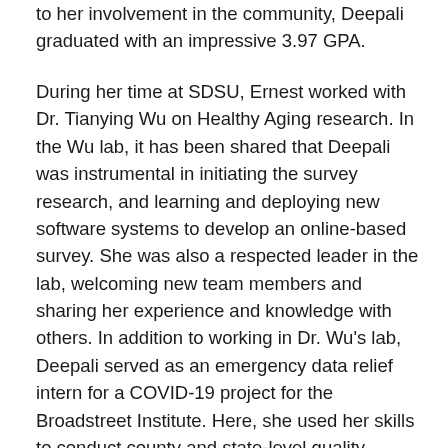to her involvement in the community, Deepali graduated with an impressive 3.97 GPA.
During her time at SDSU, Ernest worked with Dr. Tianying Wu on Healthy Aging research. In the Wu lab, it has been shared that Deepali was instrumental in initiating the survey research, and learning and deploying new software systems to develop an online-based survey. She was also a respected leader in the lab, welcoming new team members and sharing her experience and knowledge with others. In addition to working in Dr. Wu's lab, Deepali served as an emergency data relief intern for a COVID-19 project for the Broadstreet Institute. Here, she used her skills to conduct county and state-level quality assurance of COVID-19 case data from multiple Midwestern states. Moreover, she has played an active role in evaluating and summarizing COVID-19 outreach data for San Diego.